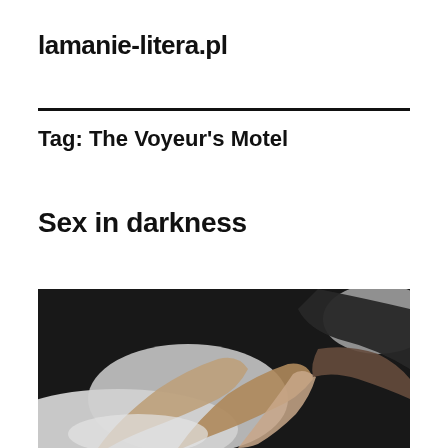lamanie-litera.pl
Tag: The Voyeur's Motel
Sex in darkness
[Figure (photo): Black and white photograph showing intertwined human limbs on a bed with white sheets and a pillow visible in the background]